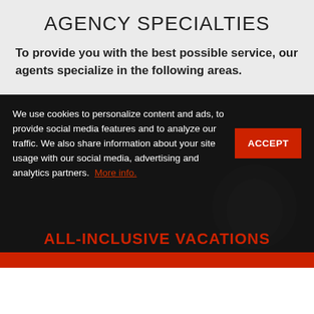AGENCY SPECIALTIES
To provide you with the best possible service, our agents specialize in the following areas.
We use cookies to personalize content and ads, to provide social media features and to analyze our traffic. We also share information about your site usage with our social media, advertising and analytics partners. More info.
ALL-INCLUSIVE VACATIONS